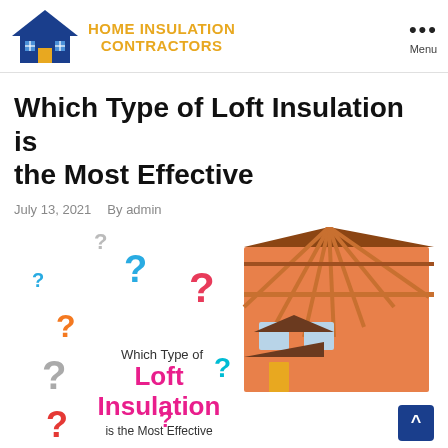HOME INSULATION CONTRACTORS | Menu
Which Type of Loft Insulation is the Most Effective
July 13, 2021  By admin
[Figure (illustration): Infographic with colorful question marks and text 'Which Type of Loft Insulation is the Most Effective', alongside an illustration of a house with exposed roof framing and cartoon characters.]